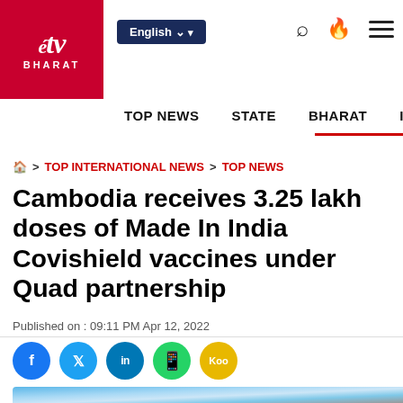ETV Bharat | English | TOP NEWS | STATE | BHARAT | INTE...
🏠 > TOP INTERNATIONAL NEWS > TOP NEWS
Cambodia receives 3.25 lakh doses of Made In India Covishield vaccines under Quad partnership
Published on : 09:11 PM Apr 12, 2022
[Figure (photo): Close-up photo of a medical syringe being held with blue gloved hands, vaccine related imagery]